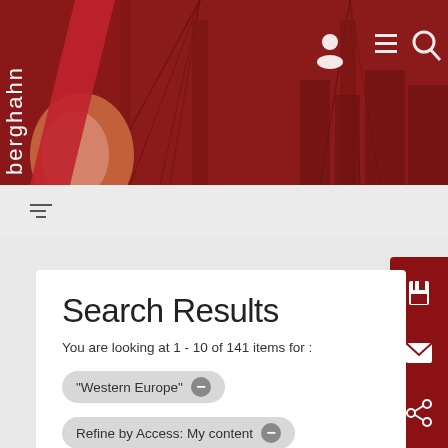[Figure (logo): Berghahn publisher logo on red background with city skyline overlay. White vertical text 'berghahn' with stylized oval/circle logo graphic in orange and red.]
Navigation icons: user profile, menu, search
Filter icon
Search Results
You are looking at 1 - 10 of 141 items for :
"Western Europe" —
Refine by Access: My content —